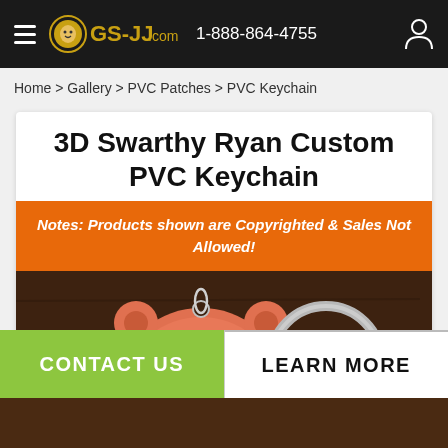GS-JJ.com  1-888-864-4755
Home > Gallery > PVC Patches > PVC Keychain
3D Swarthy Ryan Custom PVC Keychain
Notes: Products shown are Copyrighted & Sales Not Allowed!
[Figure (photo): Photo of a 3D PVC keychain shaped like a cartoon bear/animal face in salmon/orange color with a metal keyring, displayed on a wooden surface]
CONTACT US
LEARN MORE